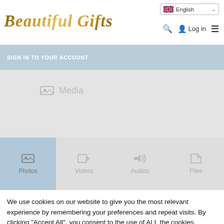Beautiful Gifts — English language selector, search, log in, menu
SIGN IN TO YOUR ACCOUNT
[Figure (screenshot): Media section with Photos, Videos, Audios, Files tabs. Photos tab is active (highlighted in light blue).]
We use cookies on our website to give you the most relevant experience by remembering your preferences and repeat visits. By clicking "Accept All", you consent to the use of ALL the cookies. However, you may visit "Cookie Settings" to provide a controlled consent.
Cookie Settings | Accept All